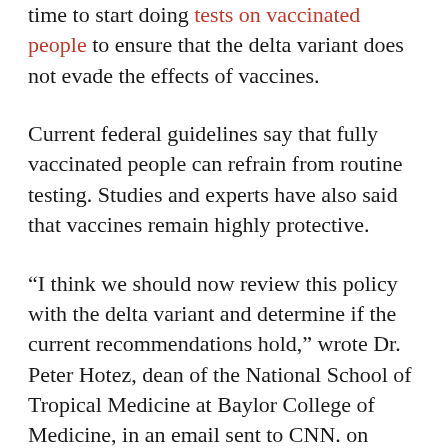time to start doing tests on vaccinated people to ensure that the delta variant does not evade the effects of vaccines.
Current federal guidelines say that fully vaccinated people can refrain from routine testing. Studies and experts have also said that vaccines remain highly protective.
“I think we should now review this policy with the delta variant and determine if the current recommendations hold,” wrote Dr. Peter Hotez, dean of the National School of Tropical Medicine at Baylor College of Medicine, in an email sent to CNN. on Wednesday.
The CDC only reports data for “advanced”